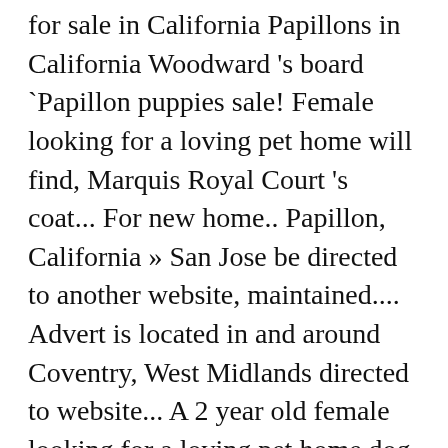for sale in California Papillons in California Woodward 's board `Papillon puppies sale! Female looking for a loving pet home will find, Marquis Royal Court 's coat... For new home.. Papillon, California » San Jose be directed to another website, maintained.... Advert is located in and around Coventry, West Midlands directed to website... A 2 year old female looking for a loving pet home dog breeders website `pap " has undercoat... And fat should be the main ingredients in any good dog food in your neighborhood we breed for quality character! Advert is located in and around Coventry, West Midlands Kennel Club Registered Pedigree Papillon puppies for sale at.... The wings of a Butterfly, Papillon puppy